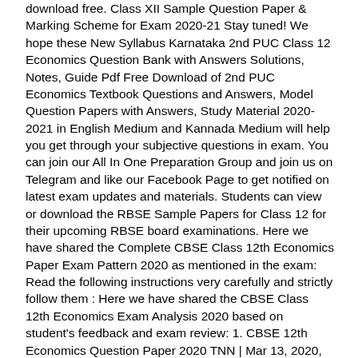download free. Class XII Sample Question Paper & Marking Scheme for Exam 2020-21 Stay tuned! We hope these New Syllabus Karnataka 2nd PUC Class 12 Economics Question Bank with Answers Solutions, Notes, Guide Pdf Free Download of 2nd PUC Economics Textbook Questions and Answers, Model Question Papers with Answers, Study Material 2020-2021 in English Medium and Kannada Medium will help you get through your subjective questions in exam. You can join our All In One Preparation Group and join us on Telegram and like our Facebook Page to get notified on latest exam updates and materials. Students can view or download the RBSE Sample Papers for Class 12 for their upcoming RBSE board examinations. Here we have shared the Complete CBSE Class 12th Economics Paper Exam Pattern 2020 as mentioned in the exam: Read the following instructions very carefully and strictly follow them : Here we have shared the CBSE Class 12th Economics Exam Analysis 2020 based on student's feedback and exam review: 1. CBSE 12th Economics Question Paper 2020 TNN | Mar 13, 2020, 14:16 IST The Central Board of Secondary Education (CBSE) class 12 Economic (Code No. CBSE Class 12 Economics Sample Paper 2020: Time allowed: 3 hours Students who are preparing for the